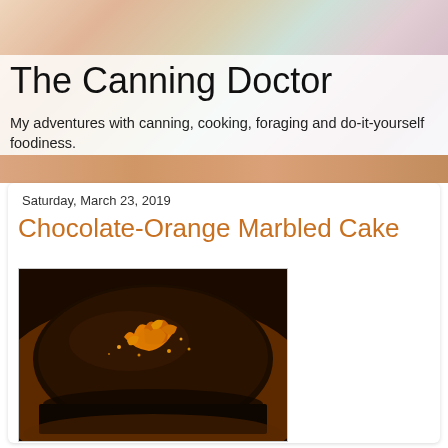The Canning Doctor
My adventures with canning, cooking, foraging and do-it-yourself foodiness.
Saturday, March 23, 2019
Chocolate-Orange Marbled Cake
[Figure (photo): A dark chocolate-glazed cake topped with orange zest curls and candied orange pieces, viewed from above at an angle.]